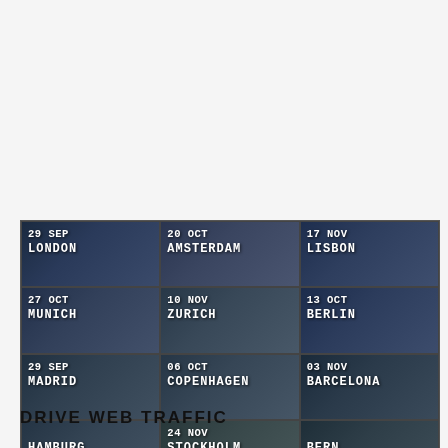[Figure (infographic): 3x4 grid of event photos/backgrounds showing tech meetup events with date and city overlaid in white monospace text. Cities: London (29 Sep), Amsterdam (20 Oct), Lisbon (17 Nov), Munich (27 Oct), Zurich (10 Nov), Berlin (13 Oct), Madrid (29 Sep), Copenhagen (06 Oct), Barcelona (03 Nov), Hamburg, Stockholm (24 Nov), Bern]
https://techmeetups.com/events/
DRIVE WEB TRAFFIC